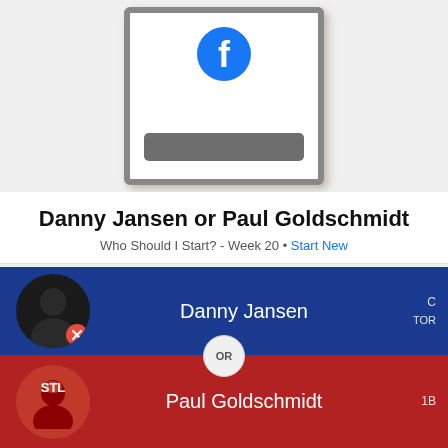[Figure (screenshot): Facebook app login screen on a smartphone frame with blue Facebook logo icon and a gray input bar]
Danny Jansen or Paul Goldschmidt
Who Should I Start? - Week 20 • Start New
[Figure (infographic): Player comparison card: Danny Jansen (C, TOR) on blue background vs Paul Goldschmidt (1B) on red background with OR circle divider]